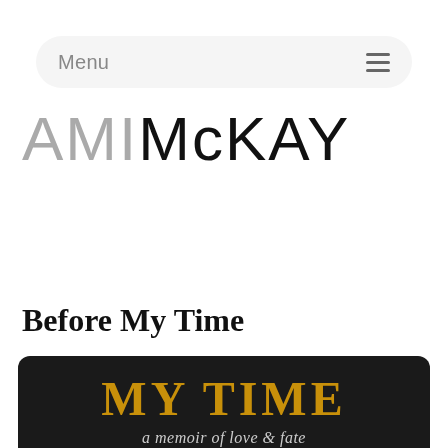Menu ≡
AMIMcKAY
Tag: memoir
Before My Time
[Figure (photo): Book cover showing 'MY TIME' in large gold letters on dark background, with subtitle 'a memoir of love & fate']